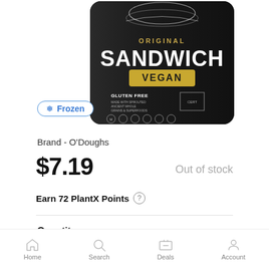[Figure (photo): Product packaging for O'Doughs Original Sandwich Vegan, gluten free, shown as a dark/black bag with white and yellow text, partially shown from slightly above.]
❄ Frozen
Brand - O'Doughs
$7.19
Out of stock
Earn 72 PlantX Points ⓘ
Quantity:
Home  Search  Deals  Account